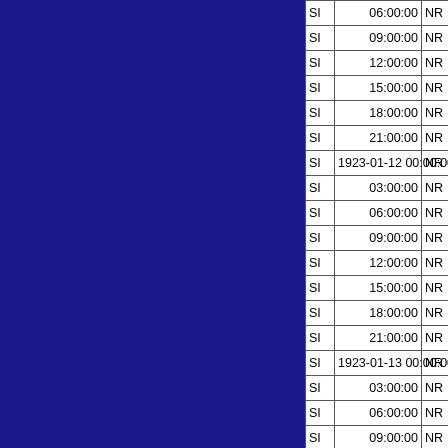|  | Time |  | Value |
| --- | --- | --- | --- |
| SI | 06:00:00 | NR | -17.0 |
| SI | 09:00:00 | NR | -17.1 |
| SI | 12:00:00 | NR | -17.2 |
| SI | 15:00:00 | NR | -17.3 |
| SI | 18:00:00 | NR | -17.4 |
| SI | 21:00:00 | NR | -17.5 |
| SI | 1923-01-12 00:00:00 | NR | -17.7 |
| SI | 03:00:00 | NR | -17.7 |
| SI | 06:00:00 | NR | -17.8 |
| SI | 09:00:00 | NR | -17.9 |
| SI | 12:00:00 | NR | -18.1 |
| SI | 15:00:00 | NR | -18.2 |
| SI | 18:00:00 | NR | -18.4 |
| SI | 21:00:00 | NR | -18.6 |
| SI | 1923-01-13 00:00:00 | NR | -18.8 |
| SI | 03:00:00 | NR | -18.9 |
| SI | 06:00:00 | NR | -18.9 |
| SI | 09:00:00 | NR | -19.0 |
| SI | 12:00:00 | NR | -19.1 |
| SI | 15:00:00 | NR | -19.1 |